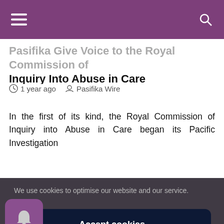Pasifika Give Voice to the Royal Commission of Inquiry Into Abuse in Care
1 year ago  Pasifika Wire
In the first of its kind, the Royal Commission of Inquiry into Abuse in Care began its Pacific Investigation
We use cookies to optimise our website and our service.
Accept cookies
Deny
View preferences
Cookie Policy